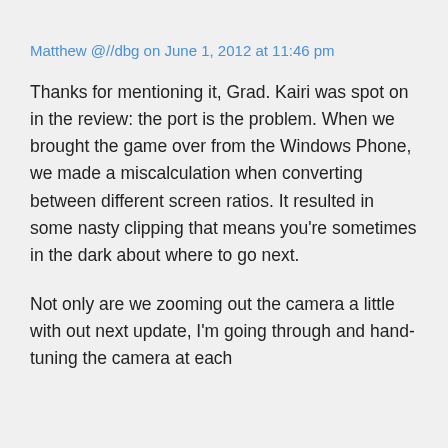Matthew @//dbg on June 1, 2012 at 11:46 pm
Thanks for mentioning it, Grad. Kairi was spot on in the review: the port is the problem. When we brought the game over from the Windows Phone, we made a miscalculation when converting between different screen ratios. It resulted in some nasty clipping that means you're sometimes in the dark about where to go next.
Not only are we zooming out the camera a little with out next update, I'm going through and hand-tuning the camera at each